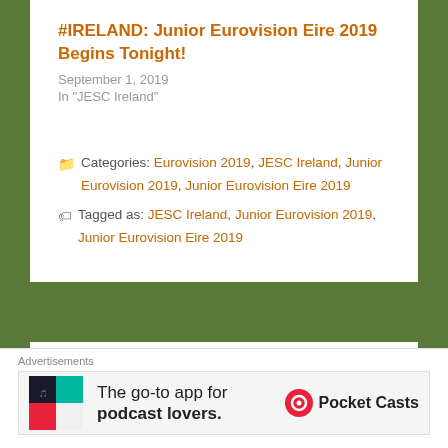#IRELAND: Junior Eurovision Eire 2019 Begins Tonight!
September 1, 2019
In "JESC Ireland"
Categories: Eurovision 2019, JESC Ireland, Junior Eurovision 2019, Junior Eurovision Eire 2019
Tagged as: JESC Ireland, Junior Eurovision 2019, Junior Eurovision Eire 2019
← #JESC19: The Stage Is Revealed
#JESC19: Anna Kearney To Represent Ireland →
Advertisements
[Figure (other): Pocket Casts advertisement: The go-to app for podcast lovers.]